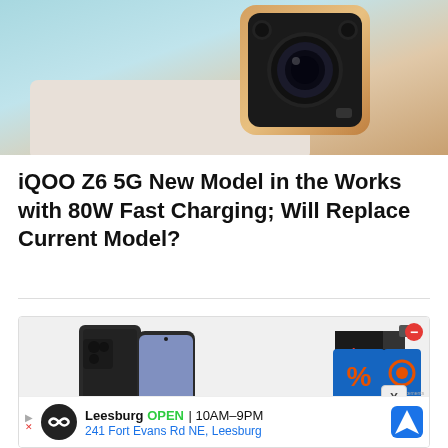[Figure (photo): Top portion of a smartphone showing the back camera module area with gold/copper colored frame against a teal-to-beige gradient background]
iQOO Z6 5G New Model in the Works with 80W Fast Charging; Will Replace Current Model?
[Figure (photo): Advertisement showing a black smartphone alongside a 3D box graphic with percentage and package icons, plus a Leesburg store ad at bottom showing 'OPEN 10AM-9PM 241 Fort Evans Rd NE, Leesburg']